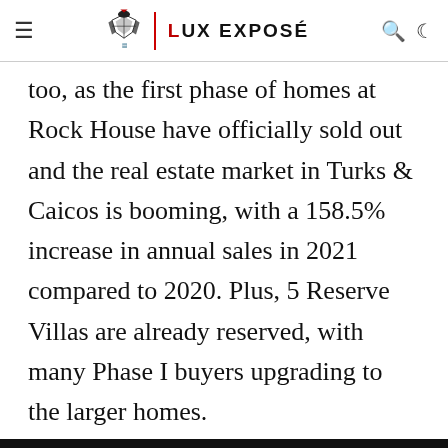LUX EXPOSÉ
too, as the first phase of homes at Rock House have officially sold out and the real estate market in Turks & Caicos is booming, with a 158.5% increase in annual sales in 2021 compared to 2020. Plus, 5 Reserve Villas are already reserved, with many Phase I buyers upgrading to the larger homes.
Privacy & Cookies: This site uses cookies. By continuing to use this website, you agree to their use. To find out more, including how to control cookies, see here: Cookie Policy
elevation of the coastal property, 95 feet above